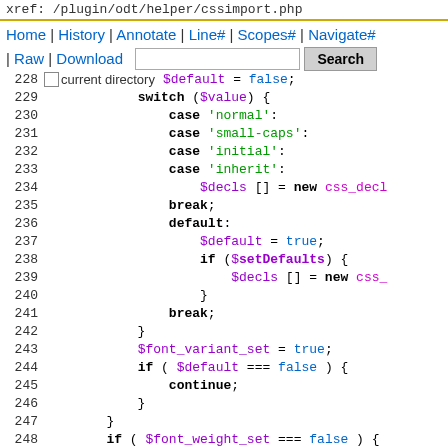xref: /plugin/odt/helper/cssimport.php
Home | History | Annotate | Line# | Scopes# | Navigate# | Raw | Download   Search
[Figure (screenshot): PHP source code viewer showing lines 228-252 of cssimport.php with syntax highlighting. Code shows a switch statement on $value with cases for 'normal', 'small-caps', 'initial', 'inherit', default setting $default=true and if($setDefaults) block, followed by $font_variant_set = true, if($default === false) continue block, and if($font_weight_set === false) block with switch($value) cases for 'normal' and 'bold'.]